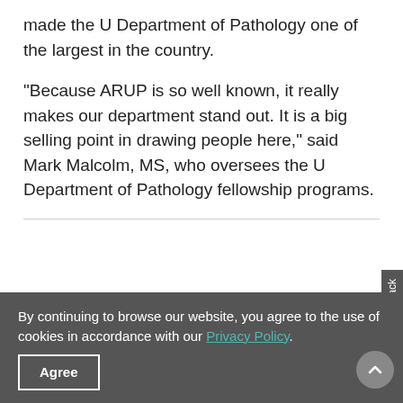made the U Department of Pathology one of the largest in the country.
“Because ARUP is so well known, it really makes our department stand out. It is a big selling point in drawing people here,” said Mark Malcolm, MS, who oversees the U Department of Pathology fellowship programs.
By continuing to browse our website, you agree to the use of cookies in accordance with our Privacy Policy. Agree